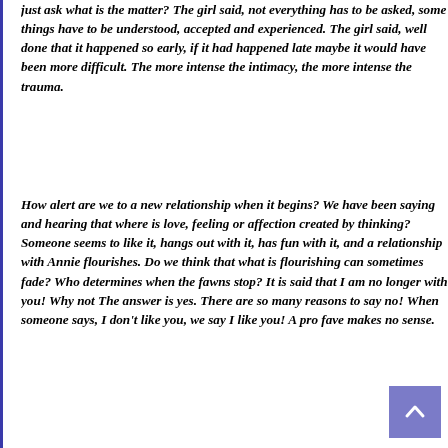just ask what is the matter? The girl said, not everything has to be asked, some things have to be understood, accepted and experienced. The girl said, well done that it happened so early, if it had happened late maybe it would have been more difficult. The more intense the intimacy, the more intense the trauma.
How alert are we to a new relationship when it begins? We have been saying and hearing that where is love, feeling or affection created by thinking? Someone seems to like it, hangs out with it, has fun with it, and a relationship with Annie flourishes. Do we think that what is flourishing can sometimes fade? Who determines when the fawns stop? It is said that I am no longer with you! Why not The answer is yes. There are so many reasons to say no! When someone says, I don't like you, we say I like you! A pro fave makes no sense.